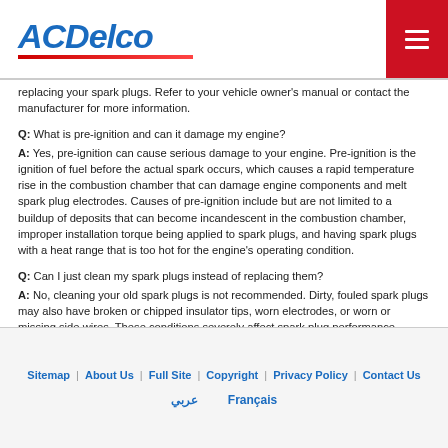ACDelco
replacing your spark plugs. Refer to your vehicle owner's manual or contact the manufacturer for more information.
Q: What is pre-ignition and can it damage my engine?
A: Yes, pre-ignition can cause serious damage to your engine. Pre-ignition is the ignition of fuel before the actual spark occurs, which causes a rapid temperature rise in the combustion chamber that can damage engine components and melt spark plug electrodes. Causes of pre-ignition include but are not limited to a buildup of deposits that can become incandescent in the combustion chamber, improper installation torque being applied to spark plugs, and having spark plugs with a heat range that is too hot for the engine's operating condition.
Q: Can I just clean my spark plugs instead of replacing them?
A: No, cleaning your old spark plugs is not recommended. Dirty, fouled spark plugs may also have broken or chipped insulator tips, worn electrodes, or worn or missing side wires. These conditions severely affect spark plug performance. Replace your dirty, fouled spark plugs with new ACDelco spark plugs.
Sitemap | About Us | Full Site | Copyright | Privacy Policy | Contact Us
عربي   Français